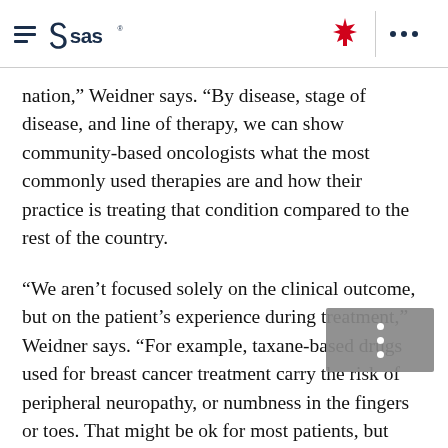SAS logo and navigation header with hamburger menu, SAS wordmark, Canadian maple leaf flag icon, and ellipsis menu
nation,” Weidner says. “By disease, stage of disease, and line of therapy, we can show community-based oncologists what the most commonly used therapies are and how their practice is treating that condition compared to the rest of the country.
“We aren’t focused solely on the clinical outcome, but on the patient’s experience during treatment,” Weidner says. “For example, taxane-based drugs used for breast cancer treatment carry the risk of peripheral neuropathy, or numbness in the fingers or toes. That might be ok for most patients, but some won’t recover from that side effect. If you’re a mom with a new baby, or a concert pianist, you might not want to risk the inability to use your hands like you did before. Those are things that need to be